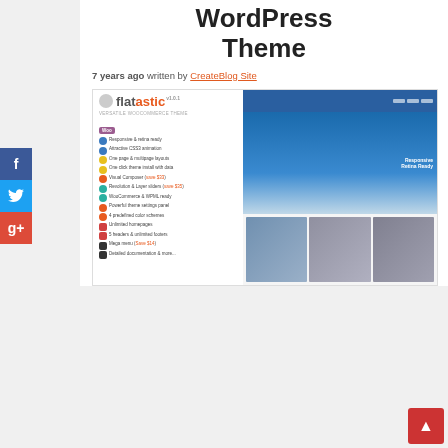WordPress Theme
7 years ago written by CreateBlog Site
[Figure (screenshot): Flatastic WordPress theme promotional screenshot showing theme logo, feature list on the left and website preview on the right with fashion/tech imagery]
[Figure (infographic): Social media sidebar with Facebook, Twitter, and Google+ buttons; and a red back-to-top button in the bottom right corner]